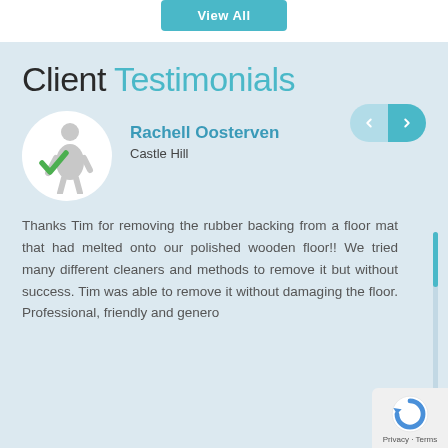View All
Client Testimonials
Rachell Oosterven
Castle Hill

Thanks Tim for removing the rubber backing from a floor mat that had melted onto our polished wooden floor!! We tried many different cleaners and methods to remove it but without success. Tim was able to remove it without damaging the floor. Professional, friendly and genero...
Privacy · Terms